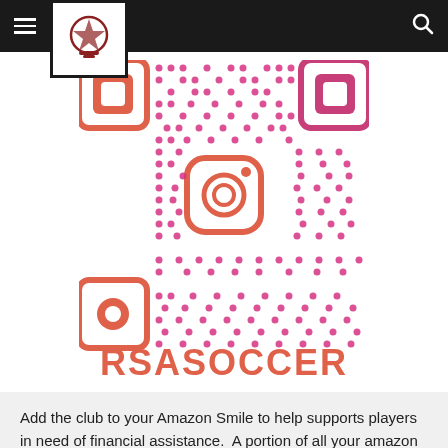[Figure (other): Instagram QR code for RSASOCCER with pink/magenta dot pattern and Instagram icon in center, orange QR corner squares]
RSASOCCER
Add the club to your Amazon Smile to help supports players in need of financial assistance.  A portion of all your amazon purchases is